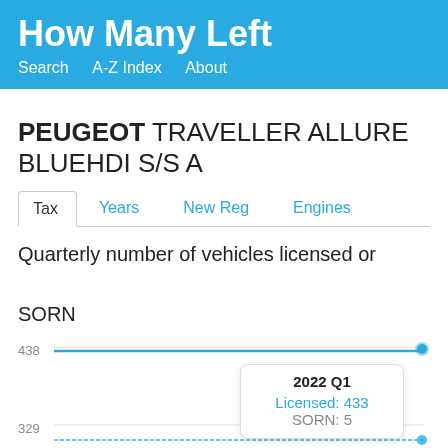How Many Left
Search   A-Z Index   About
PEUGEOT TRAVELLER ALLURE BLUEHDI S/S A
Tax   Years   New Reg   Engines
Quarterly number of vehicles licensed or SORN
[Figure (line-chart): Line chart showing licensed and SORN vehicles count with tooltip showing 2022 Q1: Licensed 433, SORN 5. Y-axis shows values 329 and 438.]